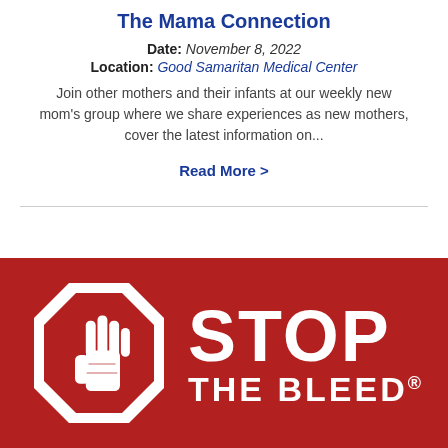The Mama Connection
Date: November 8, 2022
Location: Good Samaritan Medical Center
Join other mothers and their infants at our weekly new mom's group where we share experiences as new mothers, cover the latest information on...
Read More >
[Figure (logo): Stop The Bleed logo: red background with a white octagonal stop-sign shape containing a red hand silhouette, and large white bold text reading STOP THE BLEED with a registered trademark symbol]